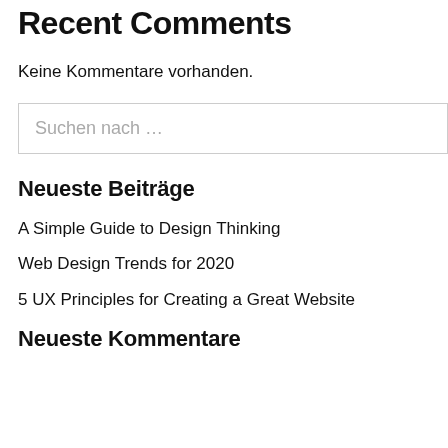Recent Comments
Keine Kommentare vorhanden.
Suchen nach …
Neueste Beiträge
A Simple Guide to Design Thinking
Web Design Trends for 2020
5 UX Principles for Creating a Great Website
Neueste Kommentare